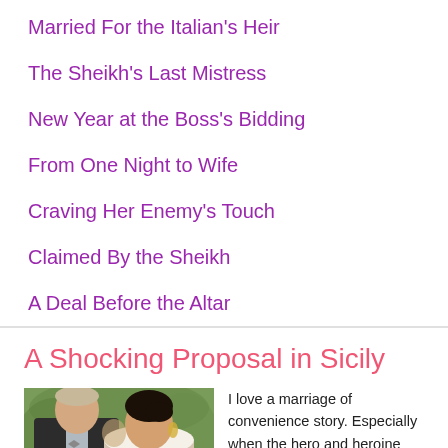Married For the Italian's Heir
The Sheikh's Last Mistress
New Year at the Boss's Bidding
From One Night to Wife
Craving Her Enemy's Touch
Claimed By the Sheikh
A Deal Before the Altar
A Shocking Proposal in Sicily
[Figure (photo): A couple in wedding attire, man in dark suit with bow tie, woman with dark updo hair, facing each other close together with greenery in background]
I love a marriage of convenience story. Especially when the hero and heroine have already given into an instant and powerful attraction and that is what